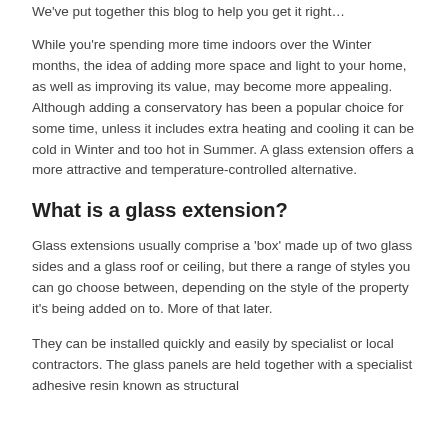We've put together this blog to help you get it right…
While you're spending more time indoors over the Winter months, the idea of adding more space and light to your home, as well as improving its value, may become more appealing. Although adding a conservatory has been a popular choice for some time, unless it includes extra heating and cooling it can be cold in Winter and too hot in Summer. A glass extension offers a more attractive and temperature-controlled alternative.
What is a glass extension?
Glass extensions usually comprise a 'box' made up of two glass sides and a glass roof or ceiling, but there a range of styles you can go choose between, depending on the style of the property it's being added on to. More of that later.
They can be installed quickly and easily by specialist or local contractors. The glass panels are held together with a specialist adhesive resin known as structural